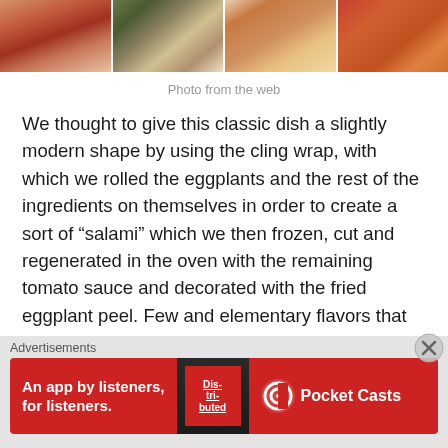[Figure (photo): Strip of three food photos showing baked dishes, likely eggplant parmigiana in white oval dishes]
Photo from the web
We thought to give this classic dish a slightly modern shape by using the cling wrap, with which we rolled the eggplants and the rest of the ingredients on themselves in order to create a sort of "salami" which we then frozen, cut and regenerated in the oven with the remaining tomato sauce and decorated with the fried eggplant peel. Few and elementary flavors that combine perfectly, simplicity that gives life to a masterpiece!
[Figure (photo): Circular cropped photo of a baked eggplant dish, partially visible at bottom of page]
Advertisements
[Figure (photo): Advertisement banner for Pocket Casts podcast app: red background showing phone with 'Dis-tri-buted' text on screen, tagline 'An app by listeners, for listeners.' with Pocket Casts logo]